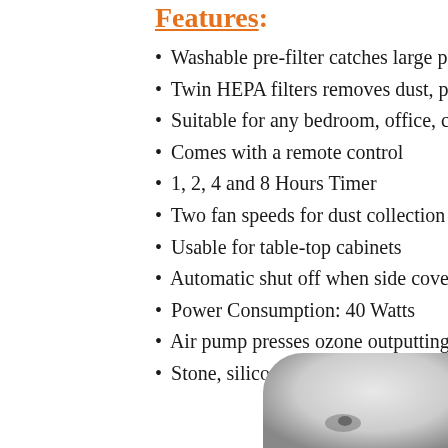Features:
Washable pre-filter catches large parti...
Twin HEPA filters removes dust, polle...
Suitable for any bedroom, office, club...
Comes with a remote control
1, 2, 4 and 8 Hours Timer
Two fan speeds for dust collection pow...
Usable for table-top cabinets
Automatic shut off when side covers a...
Power Consumption: 40 Watts
Air pump presses ozone outputting via...
Stone, silicon and rubber tube for puri...
[Figure (photo): Partial view of an air purifier device, grey/silver colored, bottom-right corner of page]